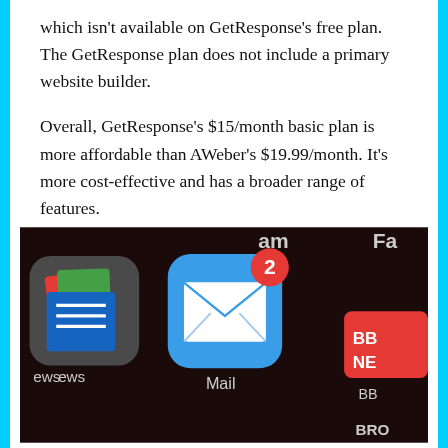which isn't available on GetResponse's free plan. The GetResponse plan does not include a primary website builder.
Overall, GetResponse's $15/month basic plan is more affordable than AWeber's $19.99/month. It's more cost-effective and has a broader range of features.
[Figure (photo): Close-up photo of a smartphone screen showing app icons including a Google Docs/Drive icon (left), Mail app icon with a red badge showing '2' (center), and BBC News icon (right). Labels 'News', 'Mail', and 'BBC' visible below icons.]